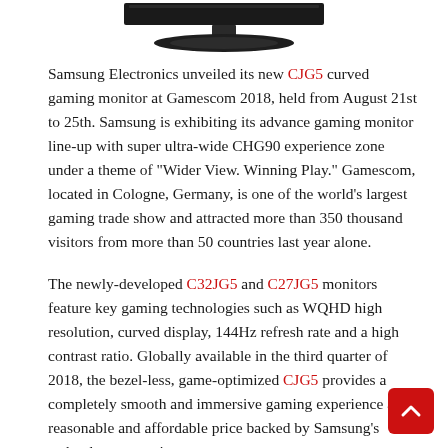[Figure (photo): Partial view of a Samsung curved gaming monitor (top portion, showing stand and bottom edge of screen against white background)]
Samsung Electronics unveiled its new CJG5 curved gaming monitor at Gamescom 2018, held from August 21st to 25th. Samsung is exhibiting its advance gaming monitor line-up with super ultra-wide CHG90 experience zone under a theme of “Wider View. Winning Play.” Gamescom, located in Cologne, Germany, is one of the world’s largest gaming trade show and attracted more than 350 thousand visitors from more than 50 countries last year alone.
The newly-developed C32JG5 and C27JG5 monitors feature key gaming technologies such as WQHD high resolution, curved display, 144Hz refresh rate and a high contrast ratio. Globally available in the third quarter of 2018, the bezel-less, game-optimized CJG5 provides a completely smooth and immersive gaming experience at a reasonable and affordable price backed by Samsung’s technology expertise.
“With demand of gaming monitors increasing rapidly, we sought to offer competitively-priced gaming monitors for more users to benefit from premium technology,” said Seong-gi Kim, Executive Vice